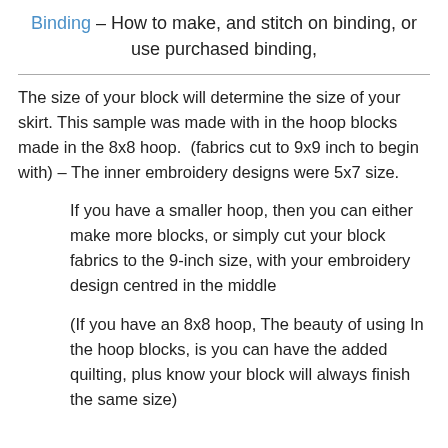Binding – How to make, and stitch on binding, or use purchased binding,
The size of your block will determine the size of your skirt. This sample was made with in the hoop blocks made in the 8x8 hoop.  (fabrics cut to 9x9 inch to begin with) – The inner embroidery designs were 5x7 size.
If you have a smaller hoop, then you can either make more blocks, or simply cut your block fabrics to the 9-inch size, with your embroidery design centred in the middle
(If you have an 8x8 hoop, The beauty of using In the hoop blocks, is you can have the added quilting, plus know your block will always finish the same size)